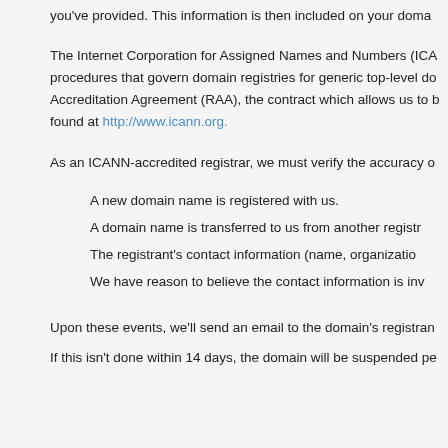you've provided. This information is then included on your doma...
The Internet Corporation for Assigned Names and Numbers (ICA... procedures that govern domain registries for generic top-level do... Accreditation Agreement (RAA), the contract which allows us to b... found at http://www.icann.org.
As an ICANN-accredited registrar, we must verify the accuracy o...
A new domain name is registered with us.
A domain name is transferred to us from another registr...
The registrant's contact information (name, organizatio...
We have reason to believe the contact information is inv...
Upon these events, we'll send an email to the domain's registran...
If this isn't done within 14 days, the domain will be suspended pe...